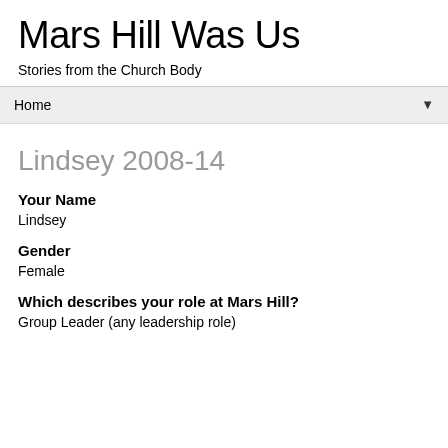Mars Hill Was Us
Stories from the Church Body
Home ▼
Lindsey 2008-14
Your Name
Lindsey
Gender
Female
Which describes your role at Mars Hill?
Group Leader (any leadership role)